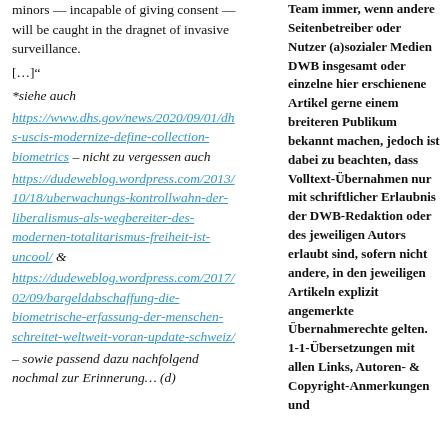minors — incapable of giving consent — will be caught in the dragnet of invasive surveillance.
[…]“
*siehe auch
https://www.dhs.gov/news/2020/09/01/dhs-uscis-modernize-define-collection-biometrics – nicht zu vergessen auch
https://dudeweblog.wordpress.com/2013/10/18/uberwachungs-kontrollwahn-der-liberalismus-als-wegbereiter-des-modernen-totalitarismus-freiheit-ist-uncool/ & https://dudeweblog.wordpress.com/2017/02/09/bargeldabschaffung-die-biometrische-erfassung-der-menschen-schreitet-weltweit-voran-update-schweiz/
– sowie passend dazu nachfolgend nochmal zur Erinnerung… (d)
Team immer, wenn andere Seitenbetreiber oder Nutzer (a)sozialer Medien DWB insgesamt oder einzelne hier erschienene Artikel gerne einem breiteren Publikum bekannt machen, jedoch ist dabei zu beachten, dass Volltext-Übernahmen nur mit schriftlicher Erlaubnis der DWB-Redaktion oder des jeweiligen Autors erlaubt sind, sofern nicht andere, in den jeweiligen Artikeln explizit angemerkte Übernahmerechte gelten. 1-1-Übersetzungen mit allen Links, Autoren- & Copyright-Anmerkungen und